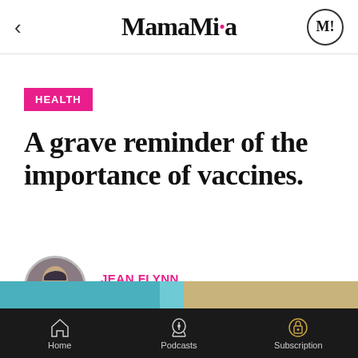MamaMia
HEALTH
A grave reminder of the importance of vaccines.
JEAN FLYNN
MARCH 11, 2016
Home  Podcasts  Subscription